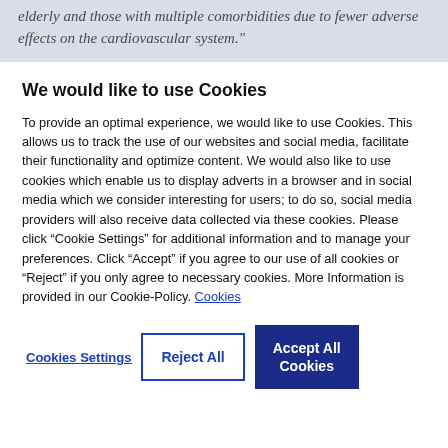elderly and those with multiple comorbidities due to fewer adverse effects on the cardiovascular system."
We would like to use Cookies
To provide an optimal experience, we would like to use Cookies. This allows us to track the use of our websites and social media, facilitate their functionality and optimize content. We would also like to use cookies which enable us to display adverts in a browser and in social media which we consider interesting for users; to do so, social media providers will also receive data collected via these cookies. Please click “Cookie Settings” for additional information and to manage your preferences. Click “Accept” if you agree to our use of all cookies or “Reject” if you only agree to necessary cookies. More Information is provided in our Cookie-Policy. Cookies
Cookies Settings
Reject All
Accept All Cookies